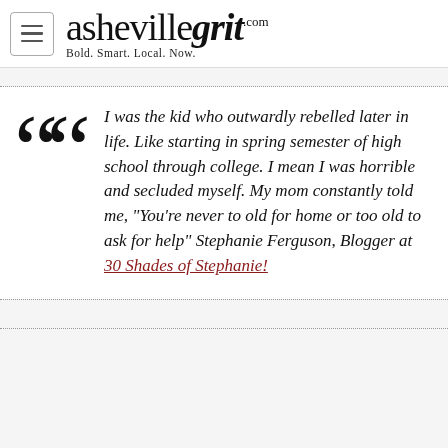ashevillegrit.com — Bold. Smart. Local. Now.
I was the kid who outwardly rebelled later in life. Like starting in spring semester of high school through college. I mean I was horrible and secluded myself. My mom constantly told me, "You're never to old for home or too old to ask for help" Stephanie Ferguson, Blogger at 30 Shades of Stephanie!